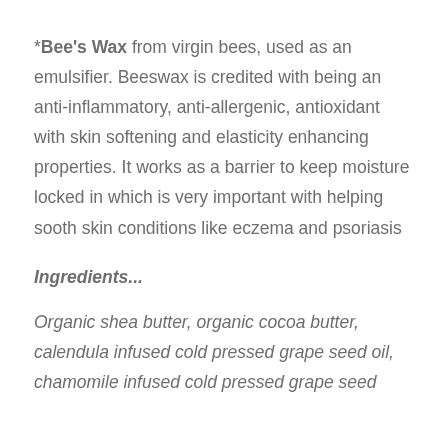*Bee's Wax from virgin bees, used as an emulsifier. Beeswax is credited with being an anti-inflammatory, anti-allergenic, antioxidant with skin softening and elasticity enhancing properties. It works as a barrier to keep moisture locked in which is very important with helping sooth skin conditions like eczema and psoriasis
Ingredients...
Organic shea butter, organic cocoa butter, calendula infused cold pressed grape seed oil, chamomile infused cold pressed grape seed